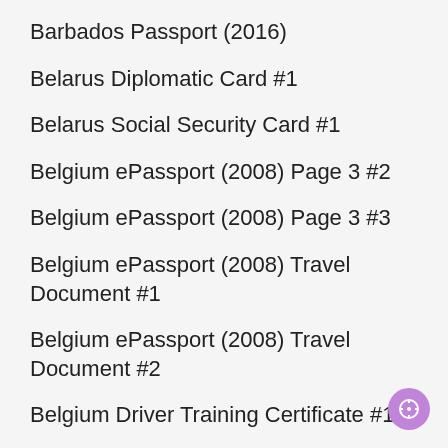Barbados Passport (2016)
Belarus Diplomatic Card #1
Belarus Social Security Card #1
Belgium ePassport (2008) Page 3 #2
Belgium ePassport (2008) Page 3 #3
Belgium ePassport (2008) Travel Document #1
Belgium ePassport (2008) Travel Document #2
Belgium Driver Training Certificate #1
Belgium Driver Training Certificate #1 Side B
Belgium Id Card (2013) Child…